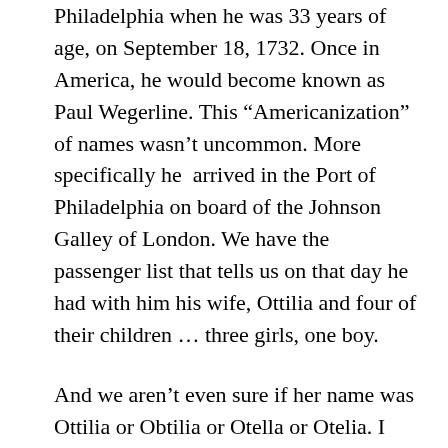Philadelphia when he was 33 years of age, on September 18, 1732. Once in America, he would become known as Paul Wegerline. This “Americanization” of names wasn’t uncommon. More specifically he  arrived in the Port of Philadelphia on board of the Johnson Galley of London. We have the passenger list that tells us on that day he had with him his wife, Ottilia and four of their children … three girls, one boy.
And we aren’t even sure if her name was Ottilia or Obtilia or Otella or Otelia. I will say this though, Lancaster County, PA records her death in the year 1763. They have a copy of her will on file in book J, volume 1, page 344, again